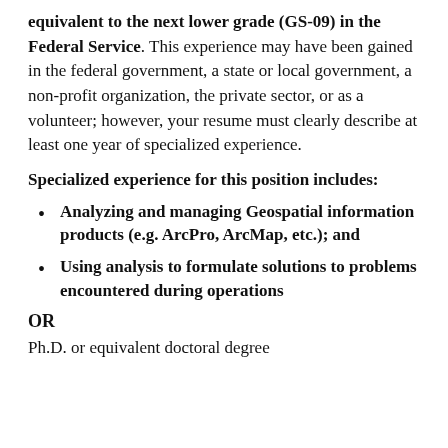equivalent to the next lower grade (GS-09) in the Federal Service. This experience may have been gained in the federal government, a state or local government, a non-profit organization, the private sector, or as a volunteer; however, your resume must clearly describe at least one year of specialized experience.
Specialized experience for this position includes:
Analyzing and managing Geospatial information products (e.g. ArcPro, ArcMap, etc.); and
Using analysis to formulate solutions to problems encountered during operations
OR
Ph.D. or equivalent doctoral degree